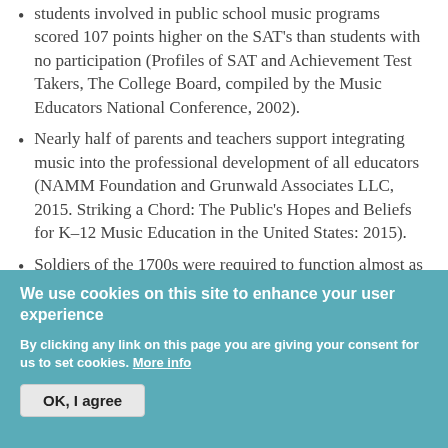students involved in public school music programs scored 107 points higher on the SAT's than students with no participation (Profiles of SAT and Achievement Test Takers, The College Board, compiled by the Music Educators National Conference, 2002).
Nearly half of parents and teachers support integrating music into the professional development of all educators (NAMM Foundation and Grunwald Associates LLC, 2015. Striking a Chord: The Public's Hopes and Beliefs for K–12 Music Education in the United States: 2015).
Soldiers of the 1700s were required to function almost as automatons, to obey, smoothly and in formation, whatever commands were given by their superiors. With
We use cookies on this site to enhance your user experience
By clicking any link on this page you are giving your consent for us to set cookies. More info
OK, I agree